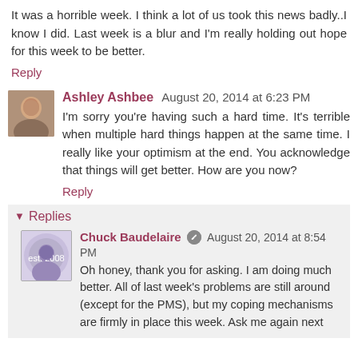It was a horrible week. I think a lot of us took this news badly..I know I did. Last week is a blur and I'm really holding out hope for this week to be better.
Reply
Ashley Ashbee  August 20, 2014 at 6:23 PM
I'm sorry you're having such a hard time. It's terrible when multiple hard things happen at the same time. I really like your optimism at the end. You acknowledge that things will get better. How are you now?
Reply
▼  Replies
Chuck Baudelaire  August 20, 2014 at 8:54 PM
Oh honey, thank you for asking. I am doing much better. All of last week's problems are still around (except for the PMS), but my coping mechanisms are firmly in place this week. Ask me again next